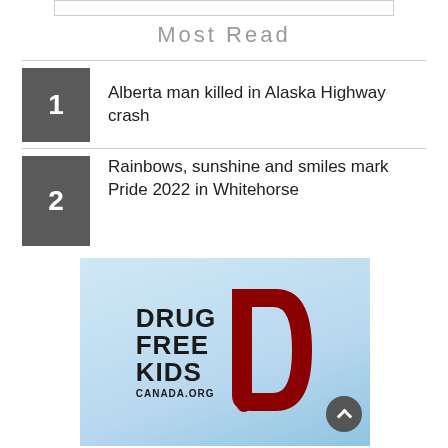Most Read
1 Alberta man killed in Alaska Highway crash
2 Rainbows, sunshine and smiles mark Pride 2022 in Whitehorse
[Figure (logo): Drug Free Kids Canada.org advertisement with light blue background, bold black text 'DRUG FREE KIDS CANADA.ORG' and a large dark red letter D with a chat bubble cutout]